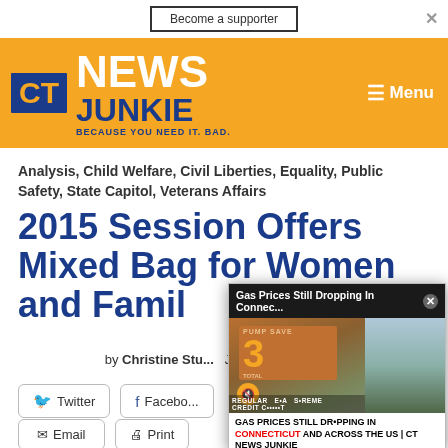Become a supporter
[Figure (logo): CT News Junkie logo with orange background, blue CT box, white NEWS JUNKIE text, tagline BECAUSE YOU NEED IT. BAD.]
Analysis, Child Welfare, Civil Liberties, Equality, Public Safety, State Capitol, Veterans Affairs
2015 Session Offers Mixed Bag for Women and Famil...
by Christine Stu... June 5, 2015, 1:50...
Twitter
Facebo...
Email
Print
[Figure (screenshot): Gas Prices Still Dropping In Connec... popup overlay showing a gas station price sign with 3 cents savings, REGULAR EXTRA SUPREME CREDIT text, mute button, and caption GAS PRICES STILL DROPPING IN CONNECTICUT AND ACROSS THE US | CT NEWS JUNKIE]